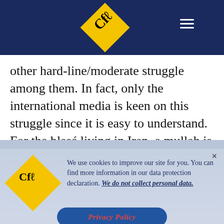CfL logo and navigation bar
other hard-line/moderate struggle among them. In fact, only the international media is keen on this struggle since it is easy to understand. For the blasé living in Iran, a mullah is a mullah even if seen in different shades. For him, the men in this theocracy are staunch followers of Islamic revolutionary dogmas and will not change to please the international wishes in any way.
We use cookies to improve our site for you. You can find more information in our data protection declaration. We do not collect personal data.
Privacy Policy